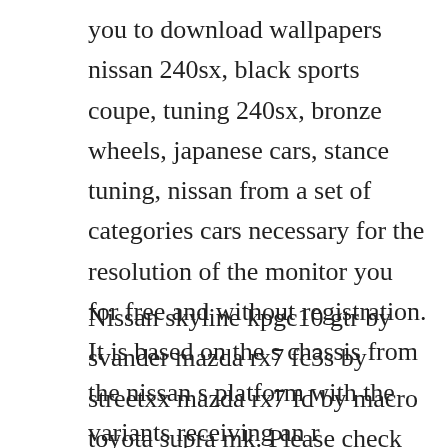you to download wallpapers nissan 240sx, black sports coupe, tuning 240sx, bronze wheels, japanese cars, stance tuning, nissan from a set of categories cars necessary for the resolution of the monitor you for free and without registration. It is based on the s chassis from the nissan s platform with the variants receiving an r designation ex.
Nissan skyline kpgc10 gtr by svander mazda rx7 fc3s by streetxx mazda rx7 fd by macro toyota supra mk. Please check nissan 240sx car parts catalog for additional information if